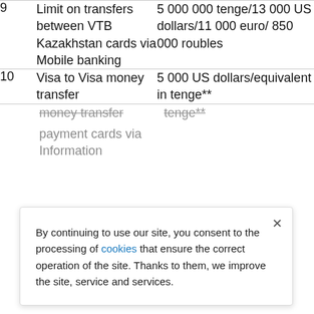| # | Description | Limit |
| --- | --- | --- |
| 9 | Limit on transfers between VTB Kazakhstan cards via Mobile banking | 5 000 000 tenge/13 000 US dollars/11 000 euro/ 850 000 roubles |
| 10 | Visa to Visa money transfer ... payment cards via Information ... | 5 000 US dollars/equivalent in tenge** |
By continuing to use our site, you consent to the processing of cookies that ensure the correct operation of the site. Thanks to them, we improve the site, service and services.